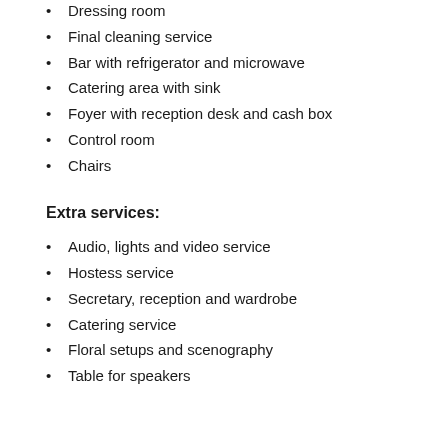Dressing room
Final cleaning service
Bar with refrigerator and microwave
Catering area with sink
Foyer with reception desk and cash box
Control room
Chairs
Extra services:
Audio, lights and video service
Hostess service
Secretary, reception and wardrobe
Catering service
Floral setups and scenography
Table for speakers